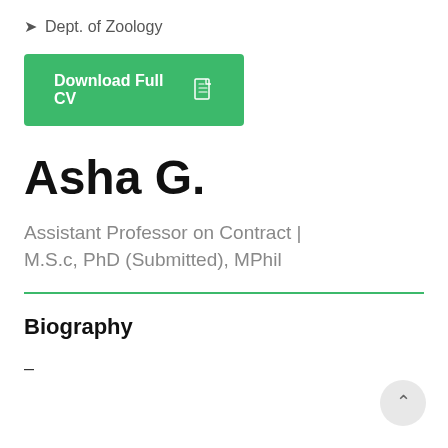Dept. of Zoology
[Figure (other): Green button labeled 'Download Full CV' with a PDF file icon]
Asha G.
Assistant Professor on Contract | M.S.c, PhD (Submitted), MPhil
Biography
–